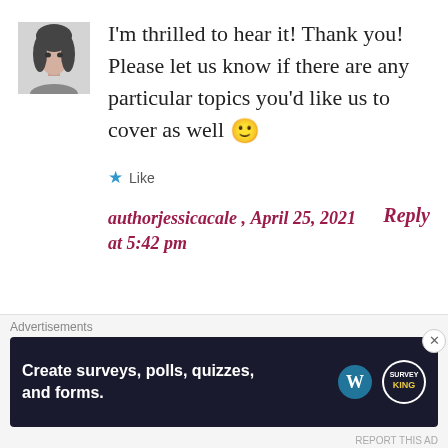[Figure (photo): Small square avatar photo of a young woman, black and white]
I'm thrilled to hear it! Thank you! Please let us know if there are any particular topics you'd like us to cover as well 🙂
★ Like
authorjessicacale , April 25, 2021 at 5:42 pm   Reply
Advertisements
Create surveys, polls, quizzes, and forms.